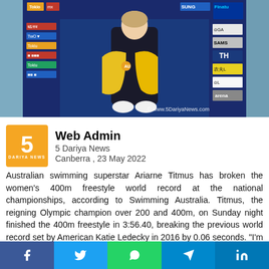[Figure (photo): Australian swimmer Ariarne Titmus posing with a yellow jacket at what appears to be a swimming championship venue, with sponsor banners in the background including Samsung, Fina, and others. Watermark: © www.5DariyaNews.com]
Web Admin
5 Dariya News
Canberra , 23 May 2022
Australian swimming superstar Ariarne Titmus has broken the women's 400m freestyle world record at the national championships, according to Swimming Australia. Titmus, the reigning Olympic champion over 200 and 400m, on Sunday night finished the 400m freestyle in 3:56.40, breaking the previous world record set by American Katie Ledecky in 2016 by 0.06 seconds. "I'm just really happy," Titmus, 21, said after the race, reports Xinhua. "I thought that if I went out there